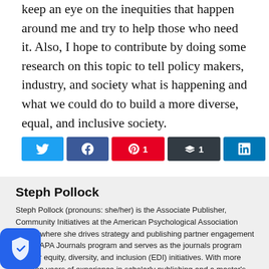keep an eye on the inequities that happen around me and try to help those who need it. Also, I hope to contribute by doing some research on this topic to tell policy makers, industry, and society what is happening and what we could do to build a more diverse, equal, and inclusive society.
[Figure (infographic): Social share bar with Twitter, Facebook, Pinterest (1), Buffer (1), LinkedIn buttons and a share count showing 2 SHARES]
Steph Pollock
Steph Pollock (pronouns: she/her) is the Associate Publisher, Community Initiatives at the American Psychological Association (APA), where she drives strategy and publishing partner engagement for the APA Journals program and serves as the journals program lead for equity, diversity, and inclusion (EDI) initiatives. With more than ten years of experience in scholarly publishing and a master's degree in publishing from The George